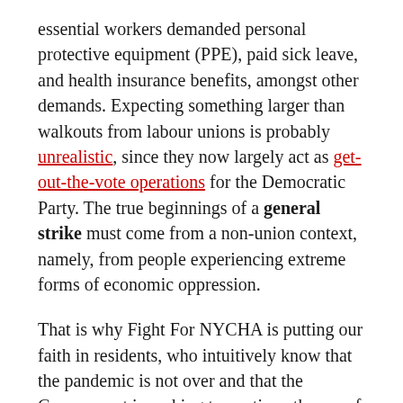essential workers demanded personal protective equipment (PPE), paid sick leave, and health insurance benefits, amongst other demands. Expecting something larger than walkouts from labour unions is probably unrealistic, since they now largely act as get-out-the-vote operations for the Democratic Party. The true beginnings of a general strike must come from a non-union context, namely, from people experiencing extreme forms of economic oppression.
That is why Fight For NYCHA is putting our faith in residents, who intuitively know that the pandemic is not over and that the Government is seeking to continue the era of racial disparities into the future. Given all the sectarianism we've witnessed in public housing organising in the last two years, the political ideologies that have coöpted NYCHA organising can support the concept of a general strike against a capitalist economy